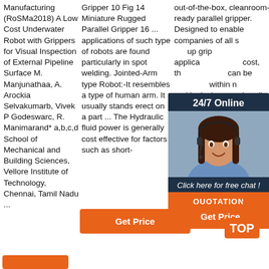Manufacturing (RoSMa2018) A Low Cost Underwater Robot with Grippers for Visual Inspection of External Pipeline Surface M. Manjunathaa, A. Arockia Selvakumarb, Vivek P Godeswarc, R. Manimarand* a,b,c,d School of Mechanical and Building Sciences, Vellore Institute of Technology, Chennai, Tamil Nadu ...
Gripper 10 Fig 14 Miniature Rugged Parallel Gripper 16 ... applications of such type of robots are found particularly in spot welding. Jointed-Arm type Robot:-It resembles a type of human arm. It usually stands erect on a part ... The Hydraulic fluid power is generally cost effective for factors such as short-
out-of-the-box, cleanroom-ready parallel gripper. Designed to enable companies of all s... up grip... applica... cost, th... can be... within n... and is... design... handle... deman... payloa... tight spaces.
[Figure (other): 24/7 Online chat overlay with woman wearing headset, orange QUOTATION button]
[Figure (logo): Orange TOP logo with dotted crown icon]
Get Price
Get Price